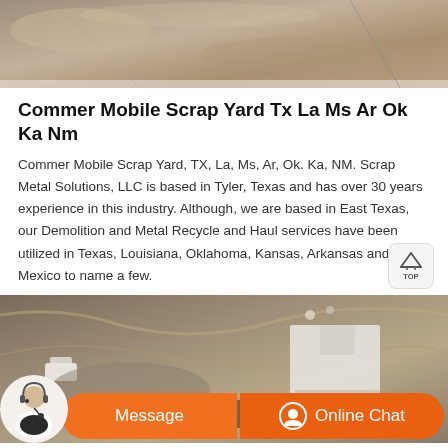[Figure (photo): Aerial view of a scrap yard / demolition site with sandy terrain, partial top portion visible]
Commer Mobile Scrap Yard Tx La Ms Ar Ok Ka Nm
Commer Mobile Scrap Yard, TX, La, Ms, Ar, Ok. Ka, NM. Scrap Metal Solutions, LLC is based in Tyler, Texas and has over 30 years experience in this industry. Although, we are based in East Texas, our Demolition and Metal Recycle and Haul services have been utilized in Texas, Louisiana, Oklahoma, Kansas, Arkansas and New Mexico to name a few.
[Figure (photo): Aerial view of a demolition or scrap yard site showing vehicles, equipment, muddy terrain, and a white building structure]
[Figure (other): Chat bar with Message and Online Chat buttons, and a customer service avatar]